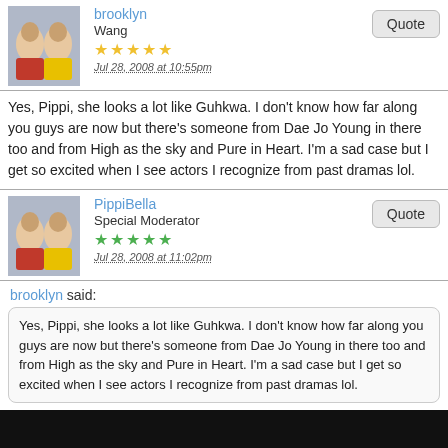brooklyn Wang Jul 28, 2008 at 10:55pm
Yes, Pippi, she looks a lot like Guhkwa. I don't know how far along you guys are now but there's someone from Dae Jo Young in there too and from High as the sky and Pure in Heart. I'm a sad case but I get so excited when I see actors I recognize from past dramas lol.
PippiBella Special Moderator Jul 28, 2008 at 11:02pm
brooklyn said: Yes, Pippi, she looks a lot like Guhkwa. I don't know how far along you guys are now but there's someone from Dae Jo Young in there too and from High as the sky and Pure in Heart. I'm a sad case but I get so excited when I see actors I recognize from past dramas lol.
Todays ep is #2. :) I love to see familiar faces too. :D